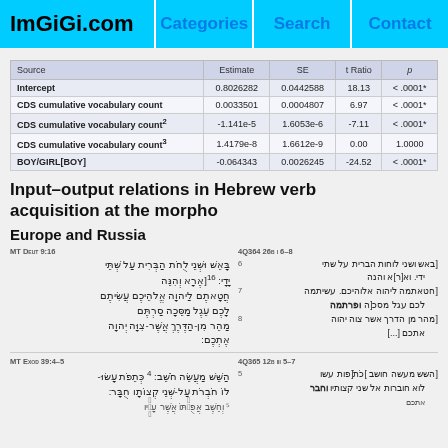ImGiGi.com | Categories | Search | Contact
| Source | Estimate | SE | t Ratio | p |
| --- | --- | --- | --- | --- |
| Intercept | 0.8026282 | 0.0442588 | 18.13 | < .0001* |
| CDS cumulative vocabulary count | 0.0033501 | 0.0004807 | 6.97 | < .0001* |
| CDS cumulative vocabulary count² | -1.141e-5 | 1.6053e-6 | -7.11 | < .0001* |
| CDS cumulative vocabulary count³ | 1.4179e-8 | 1.6612e-9 | 0.00 | 1.0000 |
| BOY/GIRL[BOY] | -0.064343 | 0.0026245 | -24.52 | < .0001* |
Input–output relations in Hebrew verb acquisition at the morpho
Europe and Russia
MT Deut 9:16 / 4Q364 26b i 6–8 — Hebrew text comparison
MT Exod 39:4–5 / 4Q365 12b iii 5–7 — Hebrew text comparison